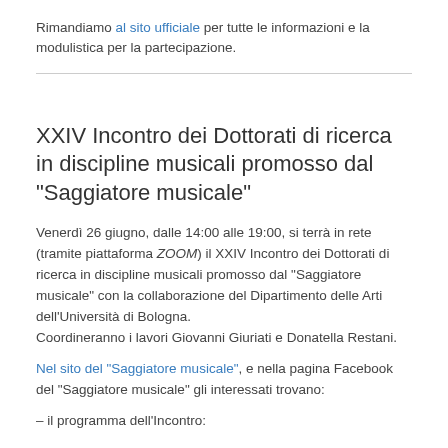Rimandiamo al sito ufficiale per tutte le informazioni e la modulistica per la partecipazione.
XXIV Incontro dei Dottorati di ricerca in discipline musicali promosso dal “Saggiatore musicale”
Venerdì 26 giugno, dalle 14:00 alle 19:00, si terrà in rete (tramite piattaforma ZOOM) il XXIV Incontro dei Dottorati di ricerca in discipline musicali promosso dal “Saggiatore musicale” con la collaborazione del Dipartimento delle Arti dell’Università di Bologna.
Coordineranno i lavori Giovanni Giuriati e Donatella Restani.
Nel sito del “Saggiatore musicale”, e nella pagina Facebook del “Saggiatore musicale” gli interessati trovano:
– il programma dell’Incontro: